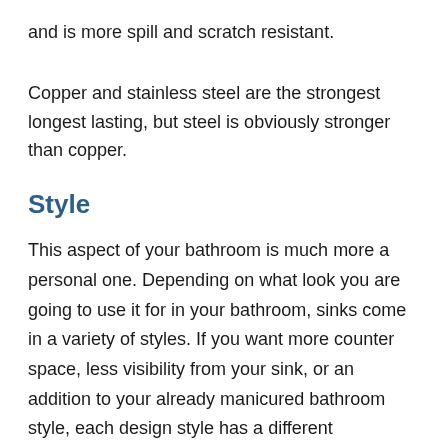and is more spill and scratch resistant.
Copper and stainless steel are the strongest longest lasting, but steel is obviously stronger than copper.
Style
This aspect of your bathroom is much more a personal one. Depending on what look you are going to use it for in your bathroom, sinks come in a variety of styles. If you want more counter space, less visibility from your sink, or an addition to your already manicured bathroom style, each design style has a different advantage.
Drop in and undermount sinks are similar, however the